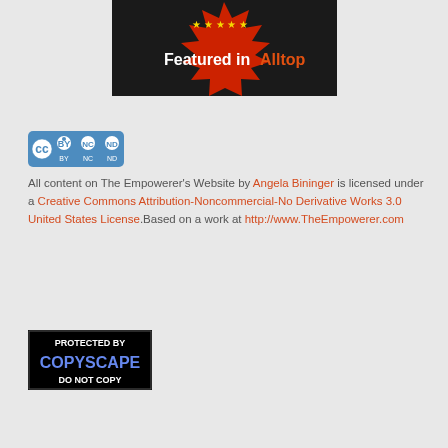[Figure (logo): Featured in Alltop badge - red starburst shape with yellow stars on black background, white text 'Featured in' and orange text 'Alltop']
[Figure (logo): Creative Commons license badge showing CC BY NC ND icons in blue rounded rectangle]
All content on The Empowerer's Website by Angela Bininger is licensed under a Creative Commons Attribution-Noncommercial-No Derivative Works 3.0 United States License.Based on a work at http://www.TheEmpowerer.com
[Figure (logo): Protected by Copyscape Do Not Copy badge - black background with blue COPYSCAPE text]